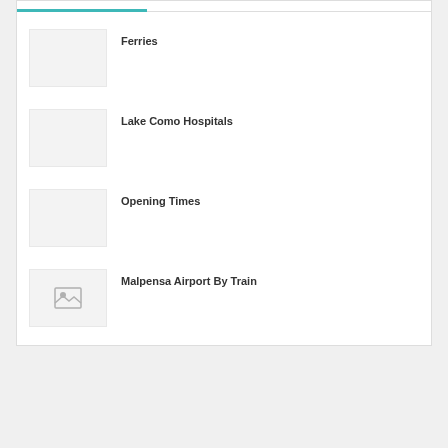Ferries
Lake Como Hospitals
Opening Times
Malpensa Airport By Train